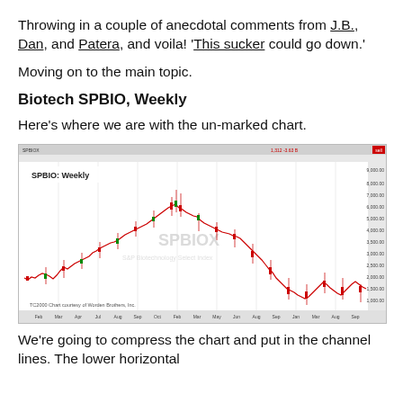Throwing in a couple of anecdotal comments from J.B., Dan, and Patera, and voila! 'This sucker could go down.'
Moving on to the main topic.
Biotech SPBIO, Weekly
Here's where we are with the un-marked chart.
[Figure (continuous-plot): Weekly candlestick chart of SPBIO (S&P Biotechnology Select Index) showing price history with a rise to a peak followed by a significant decline. Chart labeled 'SPBIO: Weekly' with watermark 'SPBIOX' and caption 'TC2000 Chart courtesy of Worden Brothers, Inc.']
We're going to compress the chart and put in the channel lines. The lower horizontal